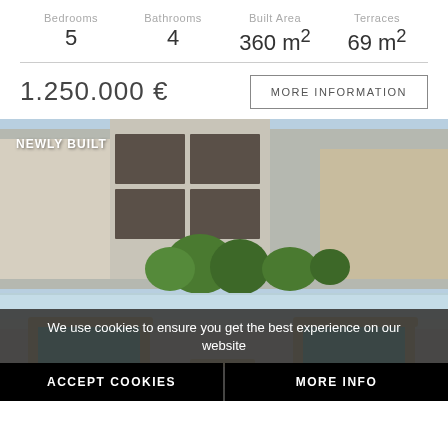| Bedrooms | Bathrooms | Built Area | Terraces |
| --- | --- | --- | --- |
| 5 | 4 | 360 m² | 69 m² |
1.250.000 €
MORE INFORMATION
[Figure (photo): Terrace with two green lounge chairs on a balcony with glass railing, overlooking buildings and the sea in the background. Label reads NEWLY BUILT.]
We use cookies to ensure you get the best experience on our website
ACCEPT COOKIES
MORE INFO